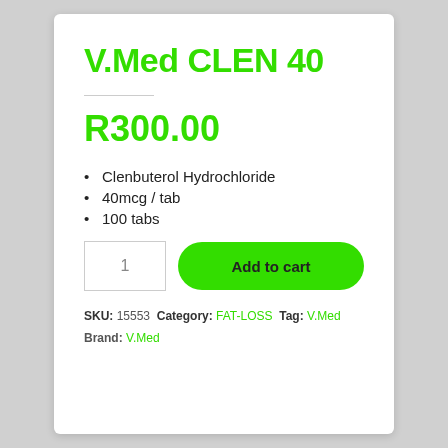V.Med CLEN 40
R300.00
Clenbuterol Hydrochloride
40mcg / tab
100 tabs
Add to cart
SKU: 15553  Category: FAT-LOSS  Tag: V.Med
Brand: V.Med